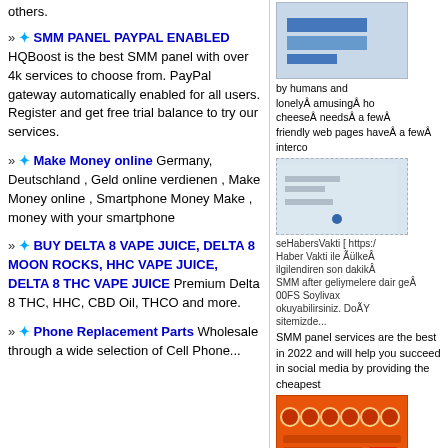others.
» ✦ SMM PANEL PAYPAL ENABLED HQBoost is the best SMM panel with over 4k services to choose from. PayPal gateway automatically enabled for all users. Register and get free trial balance to try our services.
» ✦ Make Money online Germany, Deutschland , Geld online verdienen , Make Money online , Smartphone Money Make , money with your smartphone
» ✦ BUY DELTA 8 VAPE JUICE, DELTA 8 MOON ROCKS, HHC VAPE JUICE, DELTA 8 THC VAPE JUICE Premium Delta 8 THC, HHC, CBD Oil, THCO and more.
» ✦ Phone Replacement Parts Wholesale through a wide selection of Cell Phone...
[Figure (screenshot): Screenshot of a webpage with blue bar chart elements]
by humans and lonelyÂ amusingÂ ho cheeseÂ needsÂ a fewÂ friendly web pages haveÂ a fewÂ interco
[Figure (screenshot): Screenshot of a webpage with minimal content and blue dot]
seHabersVakti [ https:/ Haber Vakti ile ÃülkeÂ ilgilendiren son dakikÂ SMM after geliymelere dair geÂ 00FS Soylivax okuyabilirsiniz. DoÃY sitemizde...
SMM panel services are the best in 2022 and will help you succeed in social media by providing the cheapest
[Figure (screenshot): Orange interface with circles, form-like content]
others.
Д¼ÐµÐ»Ñ¼Ð¸Ð°Ð¹ Twitter Ð°Ð±ÐÐ½ÐµÑÐ½Ð Ð±ÐÑ Ð ÐµÑÐ½Ð½Ñ YouTube Ð¼ÑÐºÐ»ÐµÐ»ÐÑÑ Ð¼Ð°Ñ ÐµÐ½ÐµÐ Ð¼Ð¼ÑÑÐÐ¶Ð ÐÑÐ¼ÐÐ¸Ð ÐµÑÐ¼Ð ÐÑÐ ÐÐ¾ÑÐ
» ✦ SMM PANEL PAYPAL ENABLED HQBoost is the best SMM panel with over 4k services to choose from. PayPal gateway enabled for all...
[Figure (screenshot): Screenshot of webpage with minimal content]
Review Sugar Daddy [ http://www. review ] A sugar relationship is younger financially ne you can get multiple m